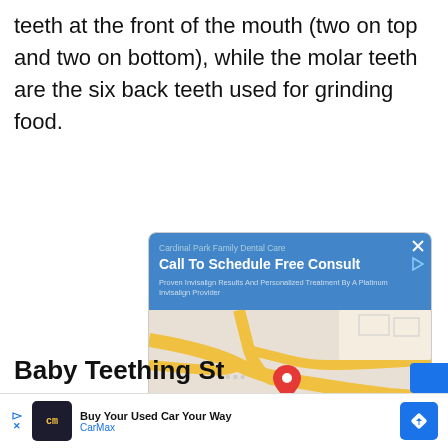teeth at the front of the mouth (two on top and two on bottom), while the molar teeth are the six back teeth used for grinding food.
[Figure (screenshot): Advertisement for Cardinal Park Family Dental Care showing 'Call To Schedule Free Consult' with a Google Maps embed showing a location pin, and buttons for Directions and Call]
Baby Teething St...
[Figure (screenshot): CarMax advertisement: 'Buy Your Used Car Your Way' with CarMax logo and navigation arrow]